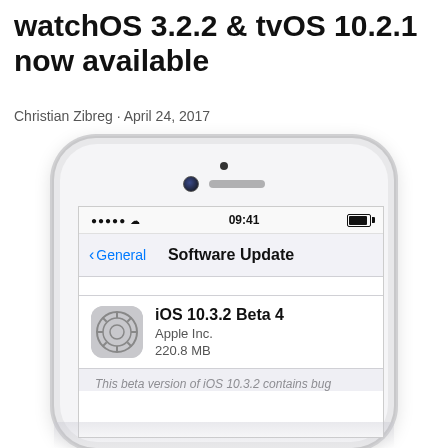watchOS 3.2.2 & tvOS 10.2.1 now available
Christian Zibreg · April 24, 2017
[Figure (screenshot): iPhone screenshot showing iOS Software Update screen with iOS 10.3.2 Beta 4 update from Apple Inc., 220.8 MB, with beta notice text below.]